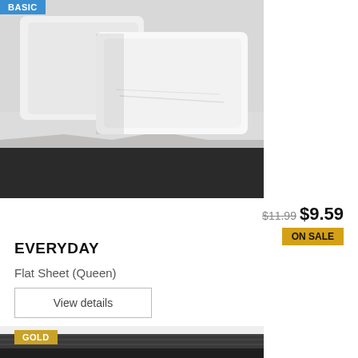[Figure (photo): White bed pillows and white flat sheet on a bed with dark mattress/fitted sheet - product photo for EVERYDAY Flat Sheet]
BASIC
$11.99 $9.59
ON SALE
EVERYDAY
Flat Sheet (Queen)
View details
GOLD
[Figure (photo): Partial photo of a bed with cream/white sheets and dark striped mattress - GOLD product]